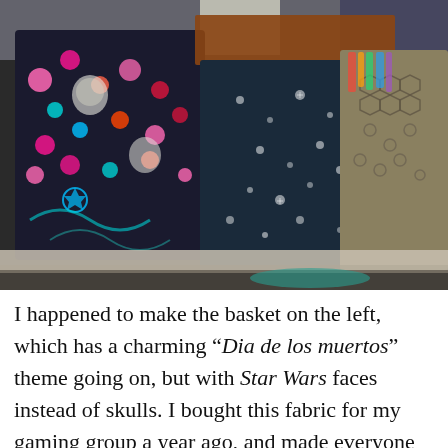[Figure (photo): A photograph showing three fabric baskets/bins sitting on a shelf or table. The basket on the left has a colorful 'Dia de los muertos' style pattern featuring Star Wars characters (like skulls replaced with Star Wars faces) in black, pink, teal, and red. The middle basket appears to be dark navy with small floral/snowflake patterns and is open showing a brown interior lining. The right basket has a gold/grey hexagonal pattern. Items/fabric/supplies are visible behind and inside the baskets.]
I happened to make the basket on the left, which has a charming “Dia de los muertos” theme going on, but with Star Wars faces instead of skulls. I bought this fabric for my gaming group a year ago, and made everyone dice bags to celebrate